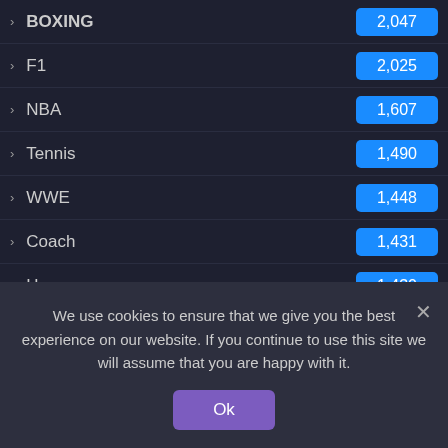BOXING 2,047
F1 2,025
NBA 1,607
Tennis 1,490
WWE 1,448
Coach 1,431
Horse 1,430
Diving 1,419
FOOTBALL 1,416
CRICKET 1,409
Baseball 1,40?
We use cookies to ensure that we give you the best experience on our website. If you continue to use this site we will assume that you are happy with it.